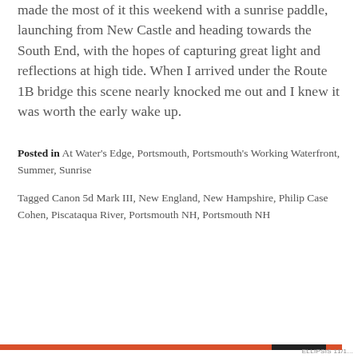made the most of it this weekend with a sunrise paddle, launching from New Castle and heading towards the South End, with the hopes of capturing great light and reflections at high tide. When I arrived under the Route 1B bridge this scene nearly knocked me out and I knew it was worth the early wake up.
Posted in At Water's Edge, Portsmouth, Portsmouth's Working Waterfront, Summer, Sunrise
Tagged Canon 5d Mark III, New England, New Hampshire, Philip Case Cohen, Piscataqua River, Portsmouth NH, Portsmouth NH
Privacy & Cookies: This site uses cookies. By continuing to use this website, you agree to their use. To find out more, including how to control cookies, see here: Cookie Policy
Close and accept